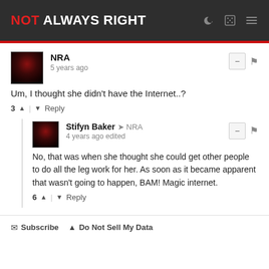NOT ALWAYS RIGHT
NRA
5 years ago
Um, I thought she didn't have the Internet..?
3 ↑ | ↓ Reply
Stifyn Baker → NRA
4 years ago edited
No, that was when she thought she could get other people to do all the leg work for her. As soon as it became apparent that wasn't going to happen, BAM! Magic internet.
6 ↑ | ↓ Reply
✉ Subscribe  ▲ Do Not Sell My Data